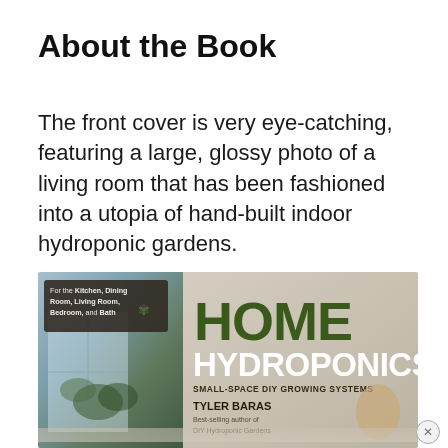About the Book
The front cover is very eye-catching, featuring a large, glossy photo of a living room that has been fashioned into a utopia of hand-built indoor hydroponic gardens.
[Figure (photo): Book cover of 'Home Hydroponics: Small-Space DIY Growing Systems' by Tyler Baras. The left side shows a photo of indoor hydroponic plants near a window with a dark label box reading 'For the Kitchen, Dining Room, Living Room, Bedroom, and Bath'. The right side features the title 'HOME' in large dark green text, 'HYDROPONICS' in large white bold text, subtitle 'SMALL-SPACE DIY GROWING SYSTEMS', and author name 'TYLER BARAS' with tagline 'Best-selling author of DIY Hydroponic Gardens'.]